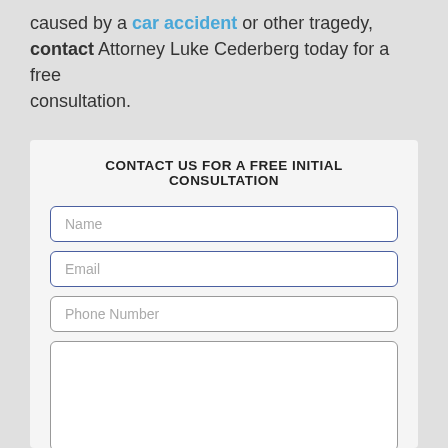caused by a car accident or other tragedy, contact Attorney Luke Cederberg today for a free consultation.
CONTACT US FOR A FREE INITIAL CONSULTATION
[Figure (other): A contact form with fields for Name, Email, Phone Number, a message textarea, and a SEND button.]